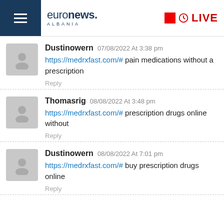euronews. ALBANIA | LIVE
Dustinowern 07/08/2022 At 3:38 pm — https://medrxfast.com/# pain medications without a prescription — Reply
Thomasrig 08/08/2022 At 3:48 pm — https://medrxfast.com/# prescription drugs online without — Reply
Dustinowern 08/08/2022 At 7:01 pm — https://medrxfast.com/# buy prescription drugs online — Reply